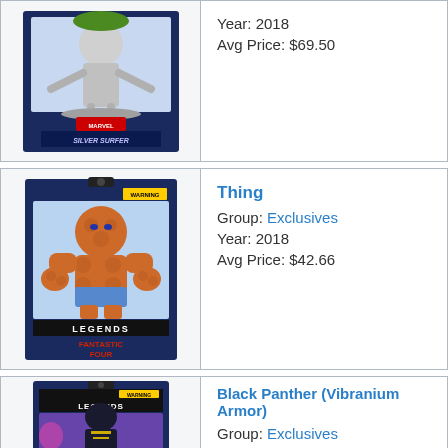[Figure (photo): Silver Surfer Marvel Legends action figure in packaging]
Year: 2018
Avg Price: $69.50
[Figure (photo): The Thing Marvel Legends Fantastic Four action figure in packaging]
Thing
Group: Exclusives
Year: 2018
Avg Price: $42.66
[Figure (photo): Black Panther Vibranium Armor Marvel Legends action figure in packaging]
Black Panther (Vibranium Armor)
Group: Exclusives
Year: 2018
Avg Price: $25.87